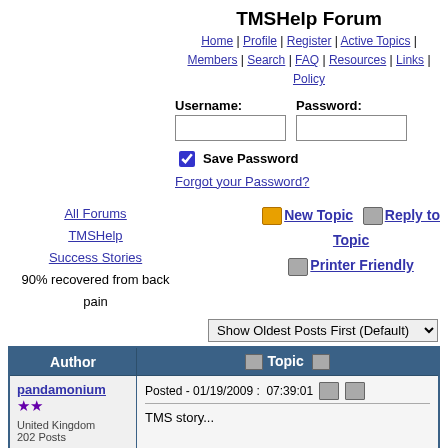TMSHelp Forum
Home | Profile | Register | Active Topics | Members | Search | FAQ | Resources | Links | Policy
Username: Password:
Save Password
Forgot your Password?
All Forums
TMSHelp
Success Stories
90% recovered from back pain
New Topic  Reply to Topic  Printer Friendly
Show Oldest Posts First (Default)
| Author | Topic |
| --- | --- |
| pandamonium
★★
United Kingdom
202 Posts | Posted - 01/19/2009 : 07:39:01
TMS story...
Despite having a spinal fusion from T2 to L2 (for severe scoliosis when I was 17) I used to be very active, I played football every week and used to love horse riding, skiing, walking and hiking.

Then in 1998 I pushed a sofa that was extremely heavy and I put my back out: I couldn't stand up |